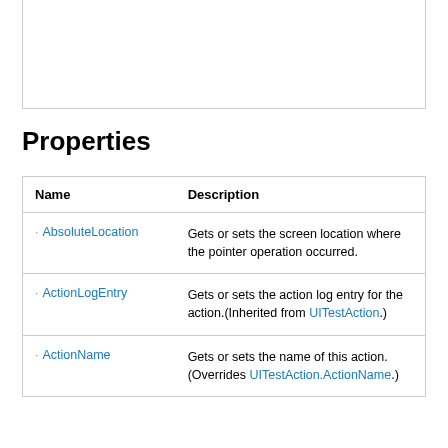Properties
| Name | Description |
| --- | --- |
| AbsoluteLocation | Gets or sets the screen location where the pointer operation occurred. |
| ActionLogEntry | Gets or sets the action log entry for the action.(Inherited from UITestAction.) |
| ActionName | Gets or sets the name of this action.(Overrides UITestAction.ActionName.) |